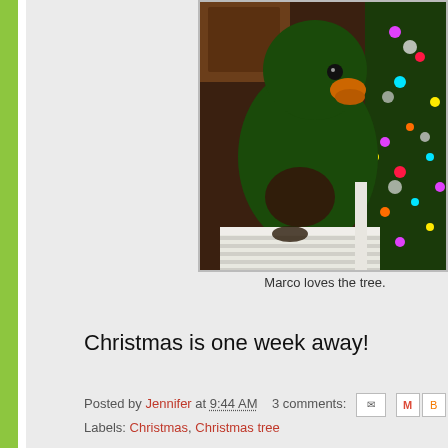[Figure (photo): A green parrot (Marco) perched on a white slatted surface, with a decorated Christmas tree with colorful lights visible in the background.]
Marco loves the tree.
Christmas is one week away!
Posted by Jennifer at 9:44 AM   3 comments:
Labels: Christmas, Christmas tree